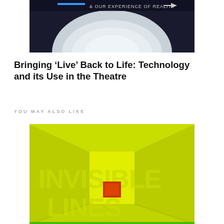[Figure (photo): Partial image at top showing a circular lens or eye-like object against a dark background with text '& OUR EXPERIENCE OF REALITY' and a blue bar and arrow icon]
Bringing ‘Live’ Back to Life: Technology and its Use in the Theatre
YOU MAY ALSO LIKE
[Figure (photo): Yellow-green room interior with perspective lines converging to center, with 'INVISIBLE LINES' text overlaid in large yellow letters and a small red/orange square in the center]